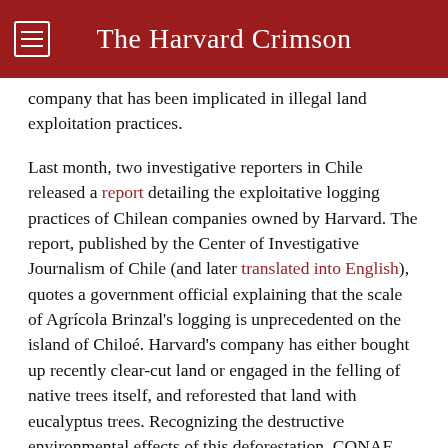The Harvard Crimson
company that has been implicated in illegal land exploitation practices.
Last month, two investigative reporters in Chile released a report detailing the exploitative logging practices of Chilean companies owned by Harvard. The report, published by the Center of Investigative Journalism of Chile (and later translated into English), quotes a government official explaining that the scale of Agrícola Brinzal's logging is unprecedented on the island of Chiloé. Harvard's company has either bought up recently clear-cut land or engaged in the felling of native trees itself, and reforested that land with eucalyptus trees. Recognizing the destructive environmental effects of this deforestation, CONAF, the Ministry of Agriculture's National Forestry Corporation, has brought multiple lawsuits against Agrícola